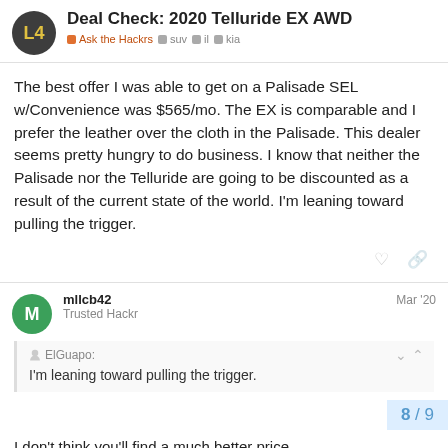Deal Check: 2020 Telluride EX AWD
Ask the Hackrs · suv · il · kia
The best offer I was able to get on a Palisade SEL w/Convenience was $565/mo. The EX is comparable and I prefer the leather over the cloth in the Palisade. This dealer seems pretty hungry to do business. I know that neither the Palisade nor the Telluride are going to be discounted as a result of the current state of the world. I'm leaning toward pulling the trigger.
mllcb42 · Trusted Hackr · Mar '20
ElGuapo: I'm leaning toward pulling the trigger.
I don't think you'll find a much better price
8 / 9